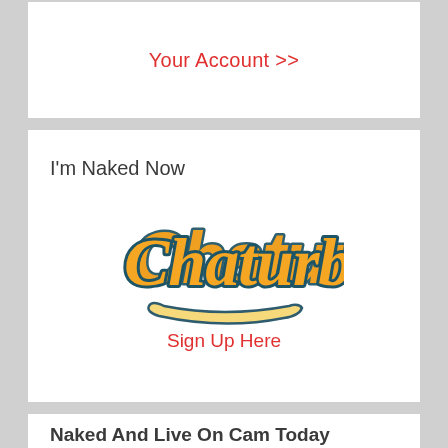Your Account >>
I'm Naked Now
[Figure (logo): Chaturbate logo with orange script lettering and teal outline on white background]
Sign Up Here
Naked And Live On Cam Today
Ostin x Kevin x Tim x Marsel
Sophi